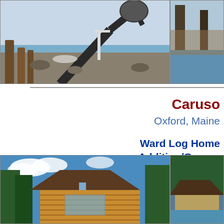[Figure (photo): Construction photo showing an excavator/backhoe arm working near water, with wooden structures and rocks visible]
[Figure (photo): Partial view of lake or water body with structures, right side panel]
Caruso
Oxford, Maine
Ward Log Home Addition/Garage
[Figure (photo): Photo of a log home with wooden siding, brown roof, and surrounding trees against a blue sky]
[Figure (photo): Partial right-side photo showing rooftop and trees near water]